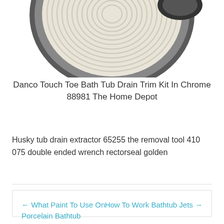[Figure (photo): Partial view of a bath tub drain trim kit product — circular ribbed white/cream colored disc component with dark grey outer ring, photographed on white background. Top portion of product visible.]
Danco Touch Toe Bath Tub Drain Trim Kit In Chrome 88981 The Home Depot
Husky tub drain extractor 65255 the removal tool 410 075 double ended wrench rectorseal golden
← What Paint To Use On Porcelain Bathtub
How To Work Bathtub Jets →